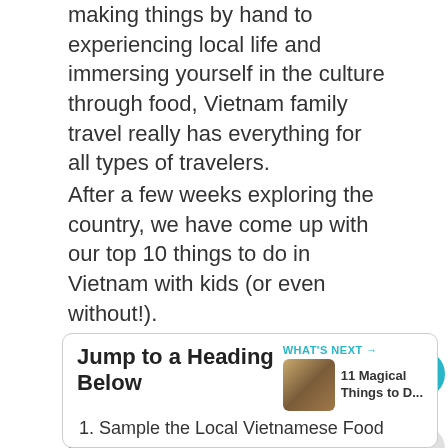making things by hand to experiencing local life and immersing yourself in the culture through food, Vietnam family travel really has everything for all types of travelers.
After a few weeks exploring the country, we have come up with our top 10 things to do in Vietnam with kids (or even without!).
Disclosure: Some of the links in this post are affiliate links, meaning at no additional cost to you, I will earn a commission if you click through and make a purchase.
Jump to a Heading Below
1. Sample the Local Vietnamese Food
2. Attend a Water Puppet Show in Vietnam